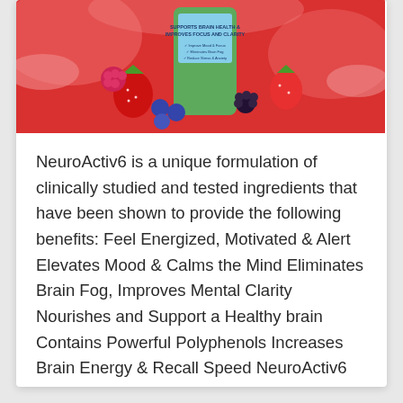[Figure (photo): Product photo of NeuroActiv6 supplement container surrounded by berries (strawberries, blueberries, raspberries, blackberries) with red water splash background. Label reads 'Supports Brain Health & Improves Focus and Clarity'.]
NeuroActiv6 is a unique formulation of clinically studied and tested ingredients that have been shown to provide the following benefits: Feel Energized, Motivated & Alert Elevates Mood & Calms the Mind Eliminates Brain Fog, Improves Mental Clarity Nourishes and Support a Healthy brain Contains Powerful Polyphenols Increases Brain Energy & Recall Speed NeuroActiv6 also: Contains
... read more
April 22, 2021